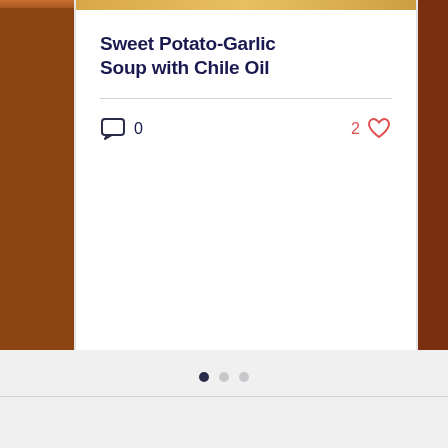[Figure (photo): Partial view of food photo at top of card — soup in a bowl, warm tones]
Sweet Potato-Garlic Soup with Chile Oil
0 comments, 2 likes
[Figure (infographic): Carousel pagination dots: 3 dots, first filled dark, second and third light grey]